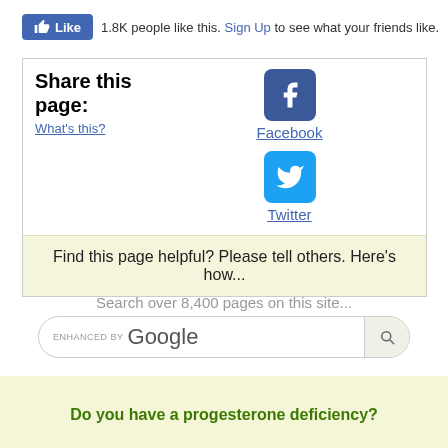[Figure (screenshot): Facebook Like button with '1.8K people like this. Sign Up to see what your friends like.']
[Figure (infographic): Share this page box with Facebook and Twitter icons and links, and a yellow footer saying 'Find this page helpful? Please tell others. Here's how...']
Search over 8,400 pages on this site...
[Figure (screenshot): Google search bar enhanced by Google with search button]
Do you have a progesterone deficiency?